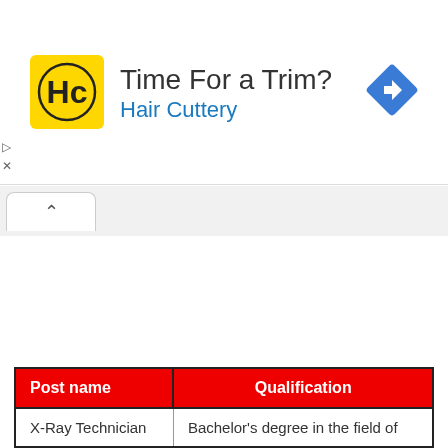[Figure (logo): Hair Cuttery advertisement banner with yellow HC logo, text 'Time For a Trim?' and 'Hair Cuttery' in blue, plus a blue navigation diamond icon]
| Post name | Qualification |
| --- | --- |
| X-Ray Technician | Bachelor's degree in the field of ... |